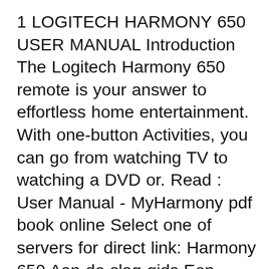1 LOGITECH HARMONY 650 USER MANUAL Introduction The Logitech Harmony 650 remote is your answer to effortless home entertainment. With one-button Activities, you can go from watching TV to watching a DVD or. Read : User Manual - MyHarmony pdf book online Select one of servers for direct link: Harmony 650 Aan de slag-gids Een overzicht van de Harmony-afstandsbediening met snelle stappen en tips, zodat u meteen aan de slag kunt. pdf, 1,21 MB Handleiding voor de Harmony 650 Een verklaring van de onderdelen van het product, hoe het werkt, een overzicht van de installationprocedures en tips voor het